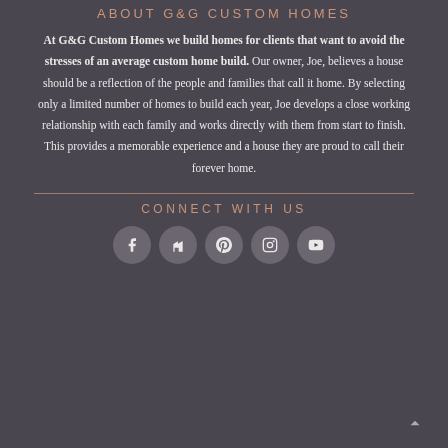ABOUT G&G CUSTOM HOMES
At G&G Custom Homes we build homes for clients that want to avoid the stresses of an average custom home build. Our owner, Joe, believes a house should be a reflection of the people and families that call it home. By selecting only a limited number of homes to build each year, Joe develops a close working relationship with each family and works directly with them from start to finish. This provides a memorable experience and a house they are proud to call their forever home.
CONNECT WITH US
[Figure (other): Row of five social media icon circles: Facebook, Houzz, Pinterest, Instagram, YouTube]